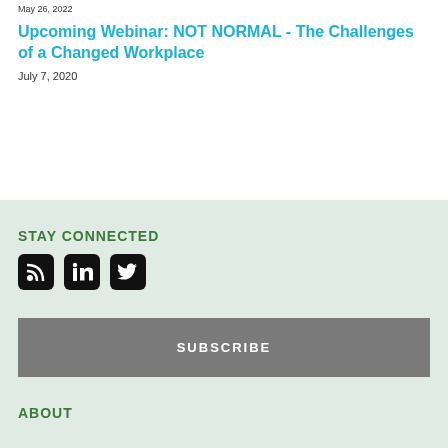May 26, 2022
Upcoming Webinar: NOT NORMAL - The Challenges of a Changed Workplace
July 7, 2020
STAY CONNECTED
[Figure (illustration): Social media icons: RSS feed, LinkedIn, Twitter]
SUBSCRIBE
ABOUT